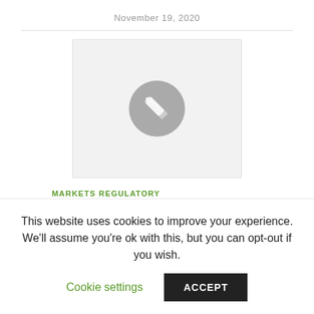November 19, 2020
[Figure (illustration): Light grey placeholder image box with a grey circle containing a white pencil/edit icon in the center]
MARKETS REGULATORY
U.S. EPA
ANNOUNCES
This website uses cookies to improve your experience. We'll assume you're ok with this, but you can opt-out if you wish.
Cookie settings   ACCEPT